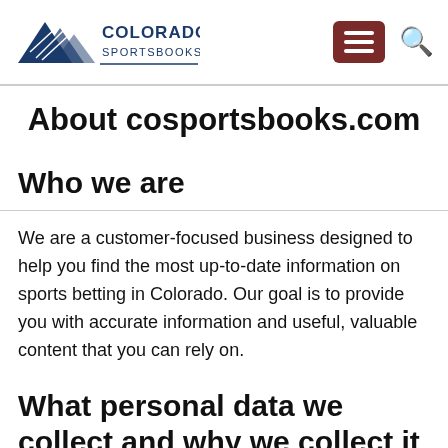[Figure (logo): Colorado Sportsbooks logo with mountain peaks icon and text COLORADO SPORTSBOOKS]
About cosportsbooks.com
Who we are
We are a customer-focused business designed to help you find the most up-to-date information on sports betting in Colorado. Our goal is to provide you with accurate information and useful, valuable content that you can rely on.
What personal data we collect and why we collect it